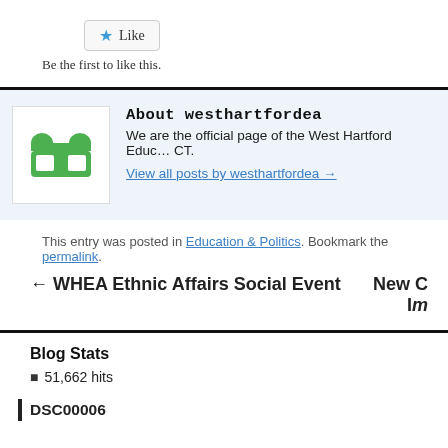[Figure (other): Like button with blue star icon]
Be the first to like this.
[Figure (logo): West Hartford Education Association green logo with book/figure icon]
About westhartfordea
We are the official page of the West Hartford Education Association in West Hartford, CT.
View all posts by westhartfordea →
This entry was posted in Education & Politics. Bookmark the permalink.
← WHEA Ethnic Affairs Social Event
New C... Im...
Blog Stats
51,662 hits
DSC00006